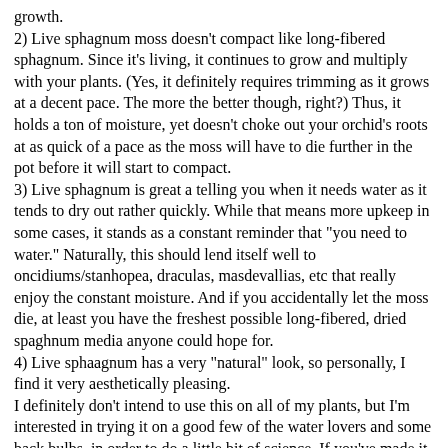growth.
2) Live sphagnum moss doesn't compact like long-fibered sphagnum. Since it's living, it continues to grow and multiply with your plants. (Yes, it definitely requires trimming as it grows at a decent pace. The more the better though, right?) Thus, it holds a ton of moisture, yet doesn't choke out your orchid's roots at as quick of a pace as the moss will have to die further in the pot before it will start to compact.
3) Live sphagnum is great a telling you when it needs water as it tends to dry out rather quickly. While that means more upkeep in some cases, it stands as a constant reminder that "you need to water." Naturally, this should lend itself well to oncidiums/stanhopea, draculas, masdevallias, etc that really enjoy the constant moisture. And if you accidentally let the moss die, at least you have the freshest possible long-fibered, dried spaghnum media anyone could hope for.
4) Live sphaagnum has a very "natural" look, so personally, I find it very aesthetically pleasing.
I definitely don't intend to use this on all of my plants, but I'm interested in trying it on a good few of the water lovers and some back bulbs, in order to do a little bit of science. If you've made it this far through my rambling, you definitely deserve a reprieve, so here are some pictures of a few plants I've potted in live spaghnum--orchids and nepenthes--as well as of my colonies.
EDIT: Just kidding, my pictures won't post, but they're available